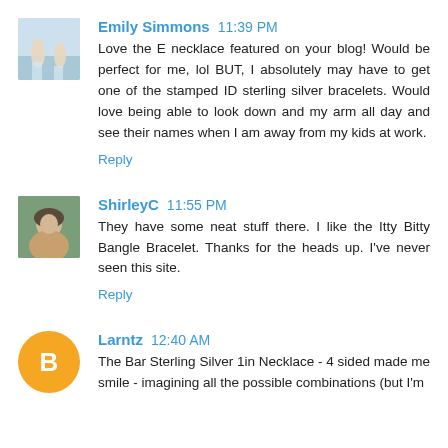[Figure (photo): Avatar photo of Emily Simmons - two people on a beach]
Emily Simmons  11:39 PM
Love the E necklace featured on your blog! Would be perfect for me, lol BUT, I absolutely may have to get one of the stamped ID sterling silver bracelets. Would love being able to look down and my arm all day and see their names when I am away from my kids at work.
Reply
[Figure (photo): Avatar photo of ShirleyC - woman's face]
ShirleyC  11:55 PM
They have some neat stuff there. I like the Itty Bitty Bangle Bracelet. Thanks for the heads up. I've never seen this site.
Reply
[Figure (illustration): Orange circle avatar with white blogger B icon for Larntz]
Larntz  12:40 AM
The Bar Sterling Silver 1in Necklace - 4 sided made me smile - imagining all the possible combinations (but I'm thinking this would be a long process, very addicting, hm